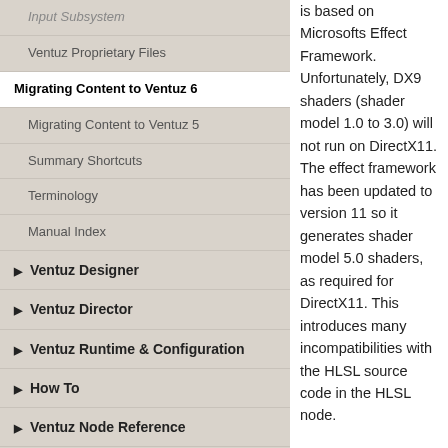Input Subsystem
Ventuz Proprietary Files
Migrating Content to Ventuz 6
Migrating Content to Ventuz 5
Summary Shortcuts
Terminology
Manual Index
Ventuz Designer
Ventuz Director
Ventuz Runtime & Configuration
How To
Ventuz Node Reference
Advanced and Development
Misc
is based on Microsofts Effect Framework. Unfortunately, DX9 shaders (shader model 1.0 to 3.0) will not run on DirectX11. The effect framework has been updated to version 11 so it generates shader model 5.0 shaders, as required for DirectX11. This introduces many incompatibilities with the HLSL source code in the HLSL node.

Here is an